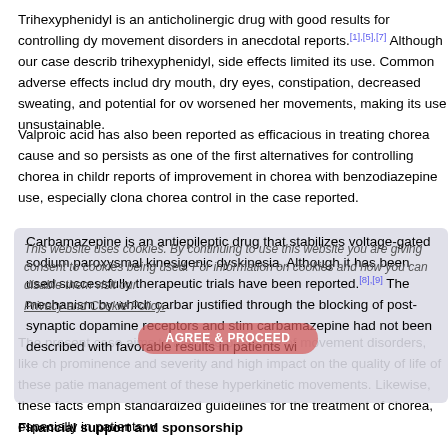Trihexyphenidyl is an anticholinergic drug with good results for controlling dy movement disorders in anecdotal reports.[1],[5],[7] Although our case describ trihexyphenidyl, side effects limited its use. Common adverse effects includ dry mouth, dry eyes, constipation, decreased sweating, and potential for ov worsened her movements, making its use unsustainable.
Valproic acid has also been reported as efficacious in treating chorea cause and so persists as one of the first alternatives for controlling chorea in childr reports of improvement in chorea with benzodiazepine use, especially clona chorea control in the case reported.
Carbamazepine is an antiepileptic drug that stabilizes voltage-gated sodium paroxysmal kinesigenic dyskinesia. Although it has been used successfully therapeutic trials have been reported.[8],[9] The mechanism by which carbar justified through the blocking of post-synaptic dopamine receptors and stim carbamazepine had not been described with favorable results in patients wi
The present case aims to alert the presence of movement disorders, like ch prominence and severity and high impact on the quality of life of these patie management of these hyperkinetic movements. Likewise, these facts emph standardized guidelines for the treatment of chorea, especially in patients w
Financial support and sponsorship